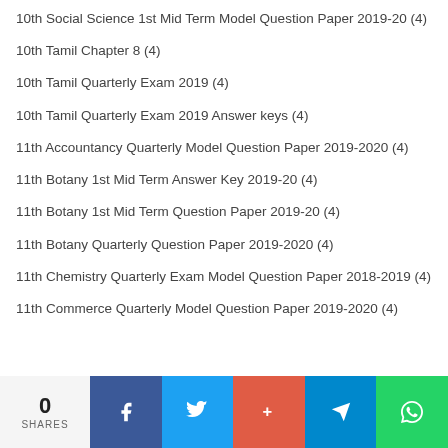10th Social Science 1st Mid Term Model Question Paper 2019-20 (4)
10th Tamil Chapter 8 (4)
10th Tamil Quarterly Exam 2019 (4)
10th Tamil Quarterly Exam 2019 Answer keys (4)
11th Accountancy Quarterly Model Question Paper 2019-2020 (4)
11th Botany 1st Mid Term Answer Key 2019-20 (4)
11th Botany 1st Mid Term Question Paper 2019-20 (4)
11th Botany Quarterly Question Paper 2019-2020 (4)
11th Chemistry Quarterly Exam Model Question Paper 2018-2019 (4)
11th Commerce Quarterly Model Question Paper 2019-2020 (4)
0 SHARES | Facebook | Twitter | Google+ | Telegram | WhatsApp